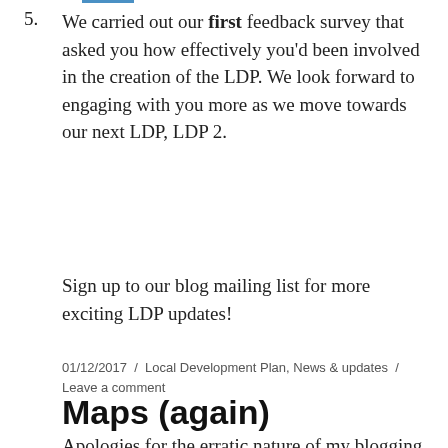5. We carried out our first feedback survey that asked you how effectively you'd been involved in the creation of the LDP. We look forward to engaging with you more as we move towards our next LDP, LDP 2.
Sign up to our blog mailing list for more exciting LDP updates!
01/12/2017 / Local Development Plan, News & updates / Leave a comment
Maps (again)
Apologies for the erratic nature of my blogging,